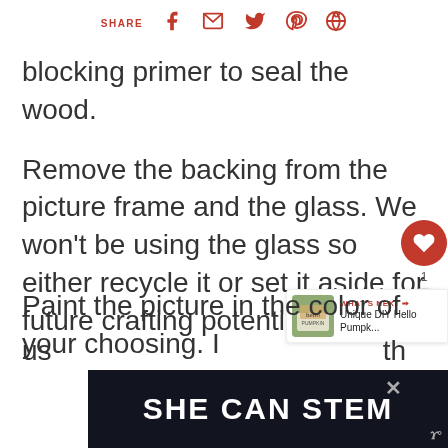SHARE [facebook] [email] [twitter] [pinterest] [whatsapp]
blocking primer to seal the wood.
Remove the backing from the picture frame and the glass. We won't be using the glass so either recycle it or set it aside for future crafting potential.
Paint the picture in the color of your choosing. I us[...] th[...]
[Figure (screenshot): Ad banner with text SHE CAN STEM on dark background]